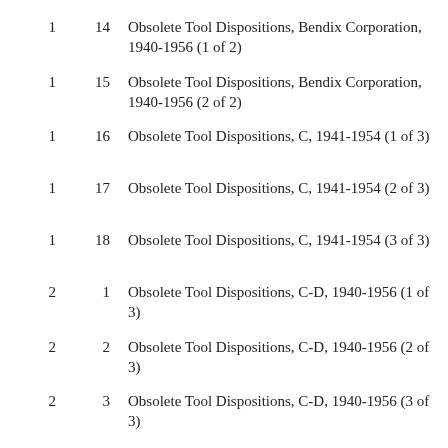1   14   Obsolete Tool Dispositions, Bendix Corporation, 1940-1956 (1 of 2)
1   15   Obsolete Tool Dispositions, Bendix Corporation, 1940-1956 (2 of 2)
1   16   Obsolete Tool Dispositions, C, 1941-1954 (1 of 3)
1   17   Obsolete Tool Dispositions, C, 1941-1954 (2 of 3)
1   18   Obsolete Tool Dispositions, C, 1941-1954 (3 of 3)
2    1   Obsolete Tool Dispositions, C-D, 1940-1956 (1 of 3)
2    2   Obsolete Tool Dispositions, C-D, 1940-1956 (2 of 3)
2    3   Obsolete Tool Dispositions, C-D, 1940-1956 (3 of 3)
2    4   Obsolete Tool Dispositions, D-E, 1940-1956 (1 of 3)